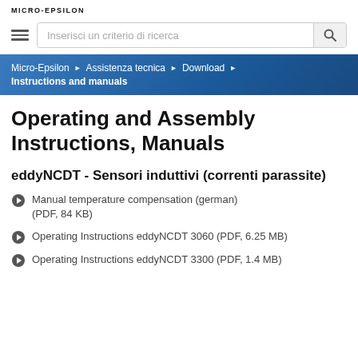MICRO-EPSILON
[Figure (screenshot): Search bar with hamburger menu icon and magnifying glass search button, placeholder text: Inserisci un criterio di ricerca]
Micro-Epsilon ▶ Assistenza tecnica ▶ Download ▶ Instructions and manuals
Operating and Assembly Instructions, Manuals
eddyNCDT - Sensori induttivi (correnti parassite)
Manual temperature compensation (german) (PDF, 84 KB)
Operating Instructions eddyNCDT 3060 (PDF, 6.25 MB)
Operating Instructions eddyNCDT 3300 (PDF, 1.4 MB)